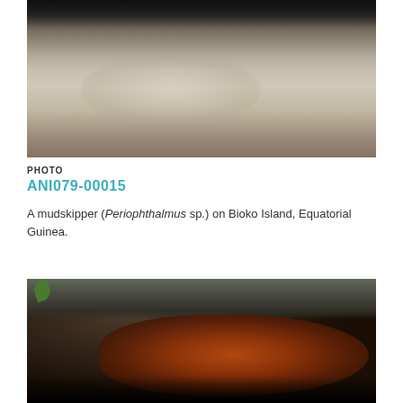[Figure (photo): Close-up photograph of a mudskipper (Periophthalmus sp.) on a wet rocky or muddy surface at Bioko Island, Equatorial Guinea. The image shows glistening wet textures in dark and tan tones.]
PHOTO
ANI079-00015
A mudskipper (Periophthalmus sp.) on Bioko Island, Equatorial Guinea.
[Figure (photo): Dense cluster of bats hanging from a rocky cave ceiling. The bats appear dark with orange-rufous wing coloring. A green leaf is visible at the top left corner.]